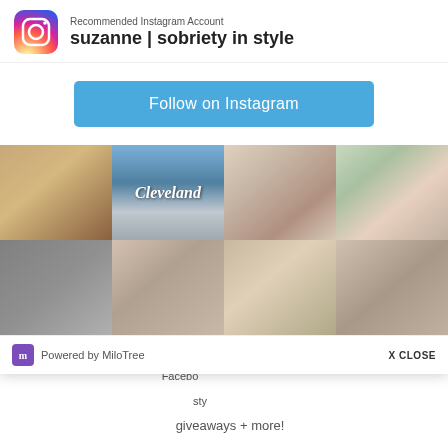[Figure (screenshot): Background page showing a white room interior photo on top-left and a sign-up form below with fields for Email Address and First Name]
[Figure (screenshot): Instagram popup overlay showing: Recommended Instagram Account header with Instagram logo, account name 'suzanne | sobriety in style', a blue Follow on Instagram button, a 2x4 grid of Instagram photos including a dog, Cleveland cityscape, woman with microphone, Christmas family photo, woman in hoodie, two women posing, a couple, and a woman relaxing. Footer shows Powered by MiloTree and X CLOSE button.]
Recommended Instagram Account
suzanne | sobriety in style
Follow on Instagram
Cleveland
Powered by MiloTree
X CLOSE
SIGN
Gain
Facebo
sty
giveaways + more!
Email Address
First Name